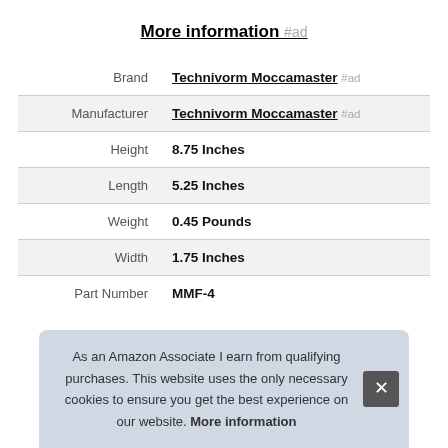More information #ad
| Brand | Technivorm Moccamaster #ad |
| Manufacturer | Technivorm Moccamaster #ad |
| Height | 8.75 Inches |
| Length | 5.25 Inches |
| Weight | 0.45 Pounds |
| Width | 1.75 Inches |
| Part Number | MMF-4 |
As an Amazon Associate I earn from qualifying purchases. This website uses the only necessary cookies to ensure you get the best experience on our website. More information